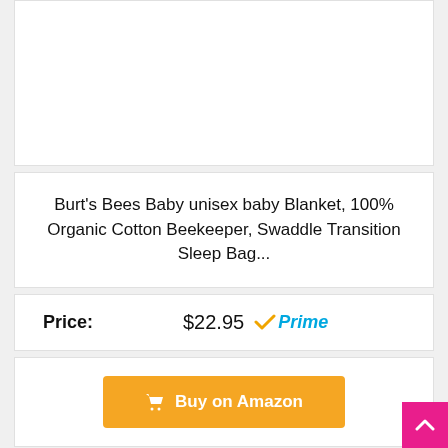[Figure (photo): Product image area (white/empty) at top of listing card]
Burt's Bees Baby unisex baby Blanket, 100% Organic Cotton Beekeeper, Swaddle Transition Sleep Bag...
Price: $22.95 Prime
Buy on Amazon
[Figure (photo): Second product image area (white/empty) at bottom of page]